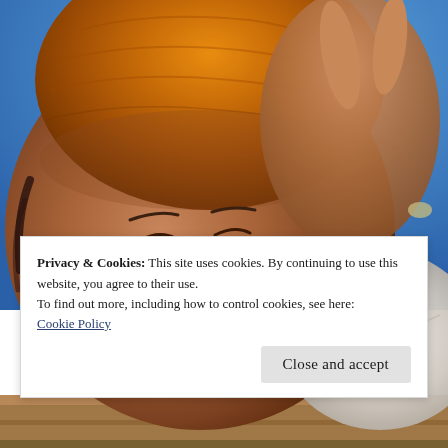[Figure (photo): A smiling person wearing an orange knit hood/balaclava making a peace sign with their hand against a blue sky background, wearing a white fleece jacket. Photo taken from a low angle looking up.]
Privacy & Cookies: This site uses cookies. By continuing to use this website, you agree to their use.
To find out more, including how to control cookies, see here:
Cookie Policy
Close and accept